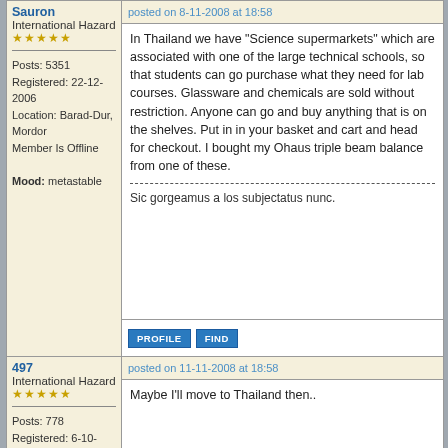Sauron
International Hazard
★★★★★
Posts: 5351
Registered: 22-12-2006
Location: Barad-Dur, Mordor
Member Is Offline
Mood: metastable
posted on 8-11-2008 at 18:58
In Thailand we have "Science supermarkets" which are associated with one of the large technical schools, so that students can go purchase what they need for lab courses. Glassware and chemicals are sold without restriction. Anyone can go and buy anything that is on the shelves. Put in in your basket and cart and head for checkout. I bought my Ohaus triple beam balance from one of these.
Sic gorgeamus a los subjectatus nunc.
497
International Hazard
★★★★★
Posts: 778
Registered: 6-10-2007
Member Is Offline
Mood: HSbF6
posted on 11-11-2008 at 18:58
Maybe I'll move to Thailand then..